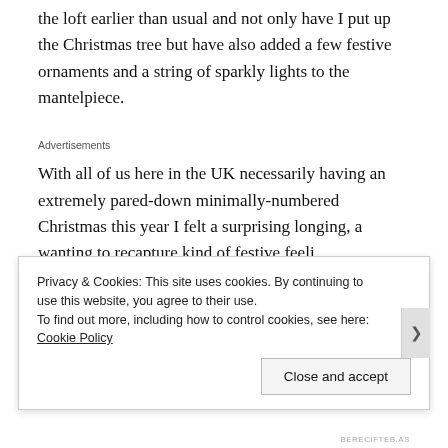the loft earlier than usual and not only have I put up the Christmas tree but have also added a few festive ornaments and a string of sparkly lights to the mantelpiece.
Advertisements
With all of us here in the UK necessarily having an extremely pared-down minimally-numbered Christmas this year I felt a surprising longing, a wanting to recapture kind of festive feeling...
Privacy & Cookies: This site uses cookies. By continuing to use this website, you agree to their use.
To find out more, including how to control cookies, see here: Cookie Policy
Close and accept